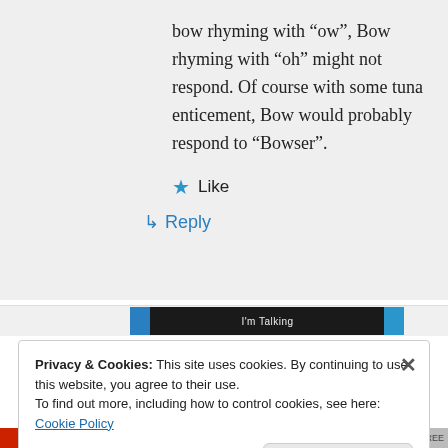bow rhyming with "ow", Bow rhyming with "oh" might not respond. Of course with some tuna enticement, Bow would probably respond to "Bowser".
★ Like
↳ Reply
[Figure (screenshot): Partial view of a video player banner with blue, black, and blue elements]
Privacy & Cookies: This site uses cookies. By continuing to use this website, you agree to their use.
To find out more, including how to control cookies, see here: Cookie Policy
Close and accept